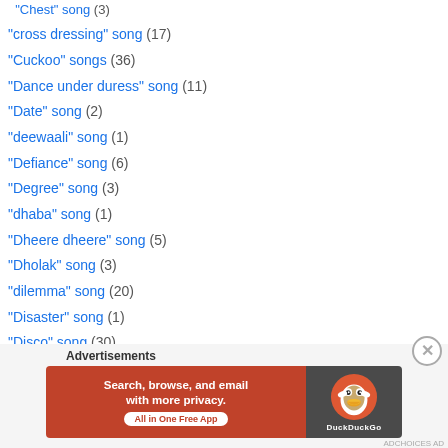"cross dressing" song (17)
"Cuckoo" songs (36)
"Dance under duress" song (11)
"Date" song (2)
"deewaali" song (1)
"Defiance" song (6)
"Degree" song (3)
"dhaba" song (1)
"Dheere dheere" song (5)
"Dholak" song (3)
"dilemma" song (20)
"Disaster" song (1)
"Disco" song (30)
"disguise" song (108)
"Diversion" song (39)
"Doli" song (9)
[Figure (infographic): DuckDuckGo advertisement banner: orange background with text 'Search, browse, and email with more privacy. All in One Free App' and DuckDuckGo logo on dark right panel]